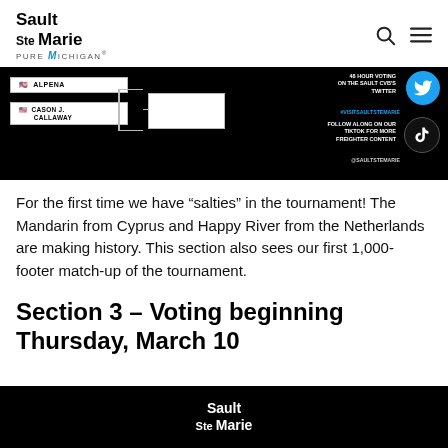[Figure (screenshot): Sault Ste Marie Pure Michigan website header with logo, search icon, and hamburger menu icon]
[Figure (screenshot): Tournament bracket graphic on black background showing ALPENA vs CASON J. CALLAWAY matchup, with Twitter and TikTok social media call-to-action badges and text: 48 HOUR VOTING ON THE SAULT CVB'S TWITTER, #VISITSAULTSTEMARIE, FOLLOW ALONG ON OUR TIKTOK FOR MORE FREIGHTER CONTENT, @SAULTSTEMARIE]
For the first time we have “salties” in the tournament! The Mandarin from Cyprus and Happy River from the Netherlands are making history. This section also sees our first 1,000-footer match-up of the tournament.
Section 3 – Voting beginning Thursday, March 10
[Figure (screenshot): Sault Ste Marie logo on black background at the bottom of the page]